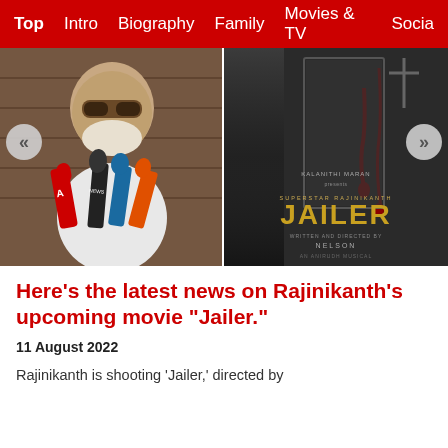Top  Intro  Biography  Family  Movies & TV  Social
[Figure (photo): Left: Rajinikanth giving a press statement with multiple microphones from news channels. Right: Movie poster for 'Jailer' - dark atmospheric poster with red blood stains, text reading 'Kalanithi Maran presents, Superstar Rajinikanth, JAILER, written and directed by Nelson, an Anirudh musical']
Here's the latest news on Rajinikanth's upcoming movie "Jailer."
11 August 2022
Rajinikanth is shooting 'Jailer,' directed by